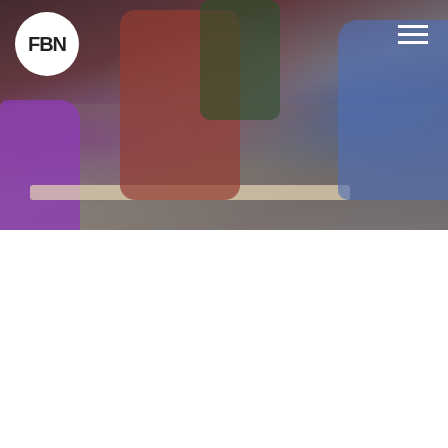[Figure (photo): Children sitting around a table doing crafts or activities, with blurred figures in foreground showing purple shirt, and plaid shirt on the right. FBN logo (white circle with FBN text) in top-left corner. Hamburger menu icon in top-right corner.]
CHILDREN ARE A HERITAGE FROM THE LORD, OFFSPRING A REWARD FROM HIM. LIKE ARROWS IN THE HANDS OF A WARRIOR ARE